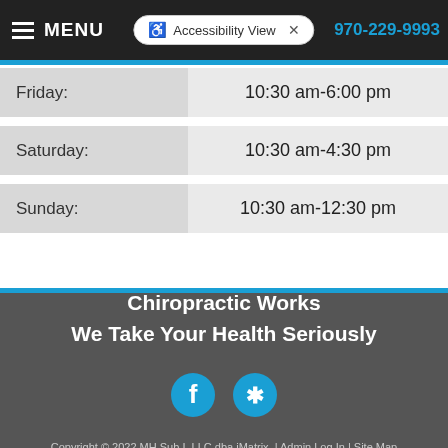MENU | Accessibility View | 970-229-9993
| Day | Hours |
| --- | --- |
| Friday: | 10:30 am-6:00 pm |
| Saturday: | 10:30 am-4:30 pm |
| Sunday: | 10:30 am-12:30 pm |
Chiropractic Works
We Take Your Health Seriously
[Figure (other): Facebook and Yelp social media icons]
Copyright © 2022 MH Sub I, LLC dba iMatrix. | Admin Log In | Site Map